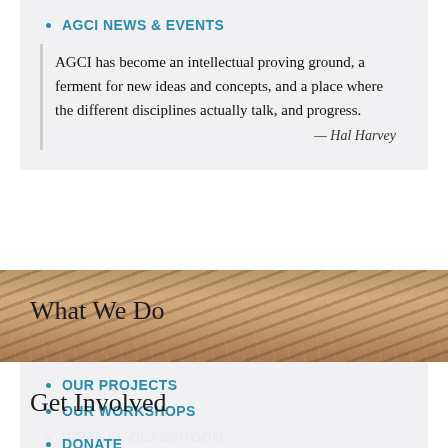AGCI NEWS & EVENTS
AGCI has become an intellectual proving ground, a ferment for new ideas and concepts, and a place where the different disciplines actually talk, and progress.
— Hal Harvey
[Figure (photo): Rocky terrain aerial photo used as background]
What We Do
OUR PROJECTS
OUR WORKSHOPS
VIRTUAL CLASSROOM
AGCI has been the most prominent place for developing interdisciplinary and transdisciplinary dialogues between scientists and practitioners.
— Guy Brasseur
[Figure (photo): Rocky terrain aerial photo used as background]
Get Involved
DONATE